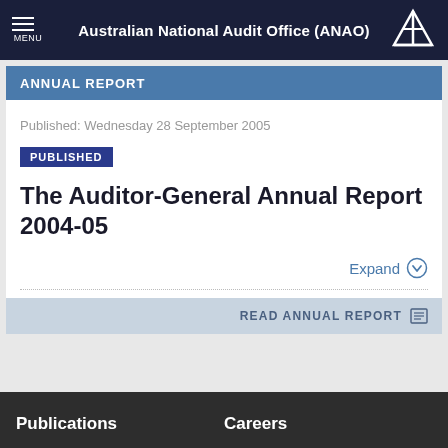Australian National Audit Office (ANAO)
ANNUAL REPORT
Published: Wednesday 28 September 2005
PUBLISHED
The Auditor-General Annual Report 2004-05
Expand
READ ANNUAL REPORT
Publications
Careers